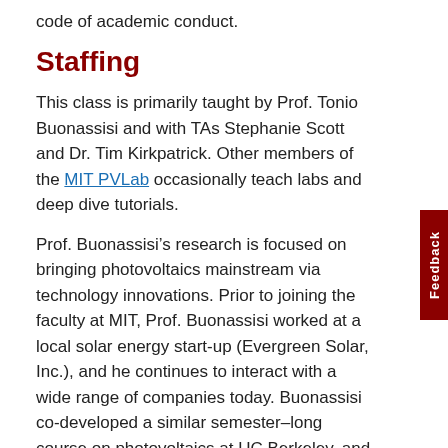code of academic conduct.
Staffing
This class is primarily taught by Prof. Tonio Buonassisi and with TAs Stephanie Scott and Dr. Tim Kirkpatrick. Other members of the MIT PVLab occasionally teach labs and deep dive tutorials.
Prof. Buonassisi’s research is focused on bringing photovoltaics mainstream via technology innovations. Prior to joining the faculty at MIT, Prof. Buonassisi worked at a local solar energy start-up (Evergreen Solar, Inc.), and he continues to interact with a wide range of companies today. Buonassisi co-developed a similar semester–long course on photovoltaics at UC Berkeley, and month-long mini-courses during the MIT IAP periods of 2006 and 2007, which attracted over fifty participants across various disciplines. For more information about Buonassisi and the PVLab, see the